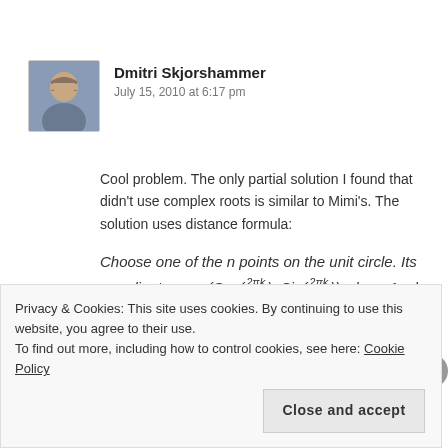[Figure (photo): Avatar photo of Dmitri Skjorshammer, a person with light hair]
Dmitri Skjorshammer
July 15, 2010 at 6:17 pm
Cool problem. The only partial solution I found that didn't use complex roots is similar to Mimi's. The solution uses distance formula:
Choose one of the n points on the unit circle. Its coordinates are (Cos(2πk/n), Sin(2πk/n)) where 1 ≤ k ≤ n − 1. Then the distance between that point and $(1,0)$ is, according to the distance formula:
Privacy & Cookies: This site uses cookies. By continuing to use this website, you agree to their use.
To find out more, including how to control cookies, see here: Cookie Policy